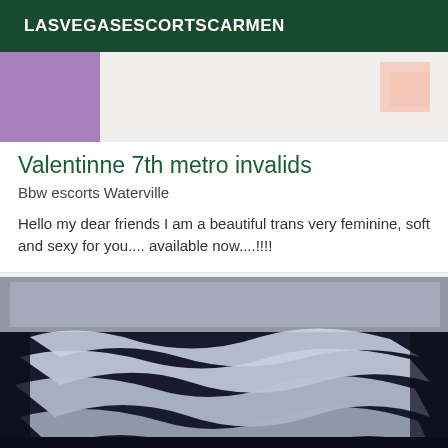LASVEGASESCORTSCARMEN
[Figure (photo): Partial view of a person, cropped image showing purple fabric and a hand/fingers at the top of a listing card]
Valentinne 7th metro invalids
Bbw escorts Waterville
Hello my dear friends I am a beautiful trans very feminine, soft and sexy for you.... available now....!!!!
[Figure (photo): A close-up photograph showing what appears to be a dental X-ray or mold displayed on a screen, with folded/layered light-colored material visible against a dark background]